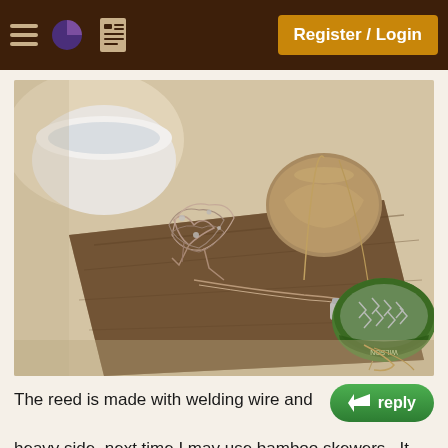Register / Login
[Figure (photo): A wooden board on a table with welding wire twisted into a reed shape, a spool of twine, a white bowl, and a round tin of metal hardware clips and fasteners.]
The reed is made with welding wire and heavy side, next time I may use bamboo skewers.  It was made by taking a bit of hardwood that was about 1-